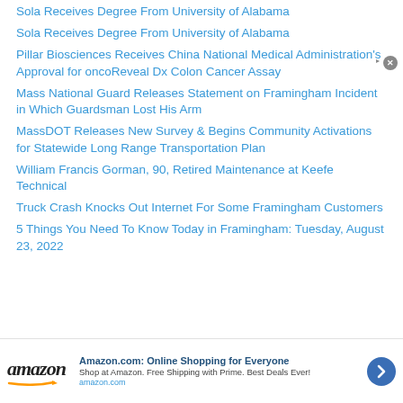Sola Receives Degree From University of Alabama
Pillar Biosciences Receives China National Medical Administration's Approval for oncoReveal Dx Colon Cancer Assay
Mass National Guard Releases Statement on Framingham Incident in Which Guardsman Lost His Arm
MassDOT Releases New Survey & Begins Community Activations for Statewide Long Range Transportation Plan
William Francis Gorman, 90, Retired Maintenance at Keefe Technical
Truck Crash Knocks Out Internet For Some Framingham Customers
5 Things You Need To Know Today in Framingham: Tuesday, August 23, 2022
[Figure (other): Amazon advertisement banner: 'Amazon.com: Online Shopping for Everyone' with subtitle 'Shop at Amazon. Free Shipping with Prime. Best Deals Ever!' and amazon.com URL, with Amazon logo and a blue arrow button.]